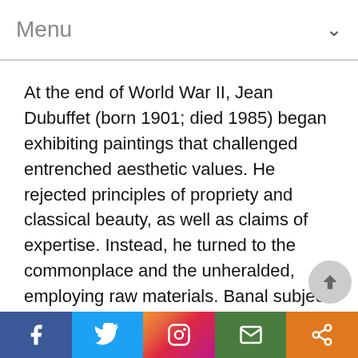Menu
At the end of World War II, Jean Dubuffet (born 1901; died 1985) began exhibiting paintings that challenged entrenched aesthetic values. He rejected principles of propriety and classical beauty, as well as claims of expertise. Instead, he turned to the commonplace and the unheralded, employing raw materials. Banal subjects and a style that rejected any outward sign of academic training. In this approach, Dubuffet challenged norms that he believed hindered authentic expression and devalued everyday experience.
Social share bar: Facebook, Twitter, Instagram, Email, Share